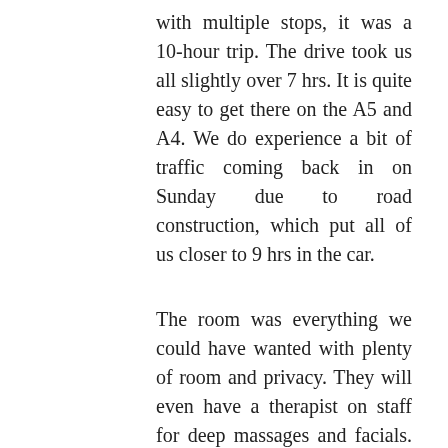with multiple stops, it was a 10-hour trip. The drive took us all slightly over 7 hrs. It is quite easy to get there on the A5 and A4. We do experience a bit of traffic coming back in on Sunday due to road construction, which put all of us closer to 9 hrs in the car.
The room was everything we could have wanted with plenty of room and privacy. They will even have a therapist on staff for deep massages and facials. The